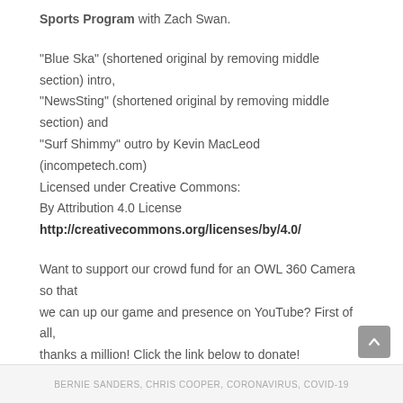Sports Program with Zach Swan.
"Blue Ska" (shortened original by removing middle section) intro, "NewsSting" (shortened original by removing middle section) and "Surf Shimmy" outro by Kevin MacLeod (incompetech.com)
Licensed under Creative Commons:
By Attribution 4.0 License
http://creativecommons.org/licenses/by/4.0/
Want to support our crowd fund for an OWL 360 Camera so that we can up our game and presence on YouTube? First of all, thanks a million! Click the link below to donate!
DONATE!!
BERNIE SANDERS, CHRIS COOPER, CORONAVIRUS, COVID-19